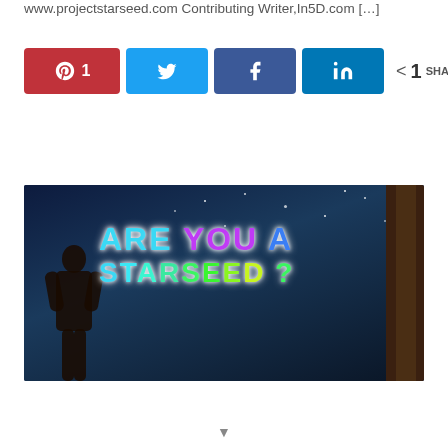www.projectstarseed.com Contributing Writer,In5D.com […]
[Figure (infographic): Social sharing buttons: Pinterest (1), Twitter, Facebook, LinkedIn, with share count showing 1 SHARES]
Continue Reading »
[Figure (photo): Image showing a person silhouetted at night with colorful text overlay reading 'ARE YOU A STARSEED ?']